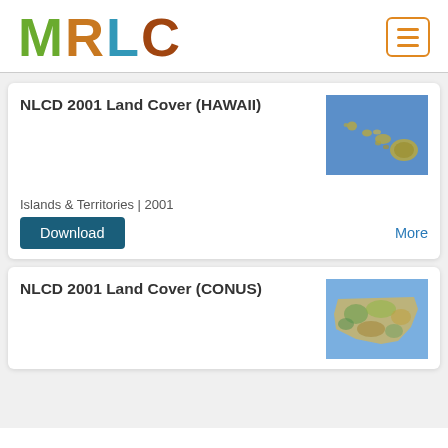[Figure (logo): MRLC logo with nature-themed letter fills: M=green forest, R=brown/orange, L=blue water, C=brown earth]
[Figure (other): Hamburger menu button with orange border]
NLCD 2001 Land Cover (HAWAII)
[Figure (map): Map thumbnail of Hawaiian Islands chain on blue ocean background, land cover classification colors]
Islands & Territories | 2001
Download
More
NLCD 2001 Land Cover (CONUS)
[Figure (map): Map thumbnail of contiguous United States (CONUS) with land cover classification colors on blue ocean background]